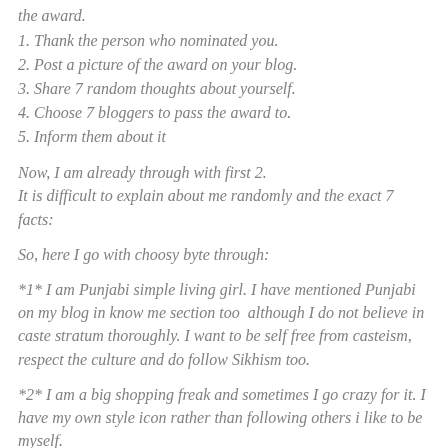the award.
1. Thank the person who nominated you.
2. Post a picture of the award on your blog.
3. Share 7 random thoughts about yourself.
4. Choose 7 bloggers to pass the award to.
5. Inform them about it
Now, I am already through with first 2.
It is difficult to explain about me randomly and the exact 7 facts:
So, here I go with choosy byte through:
*1* I am Punjabi simple living girl. I have mentioned Punjabi on my blog in know me section too  although I do not believe in caste stratum thoroughly. I want to be self free from casteism, respect the culture and do follow Sikhism too.
*2* I am a big shopping freak and sometimes I go crazy for it. I have my own style icon rather than following others i like to be myself.
*3* I am not foodie enough but yeah i can not resist my absorptive…